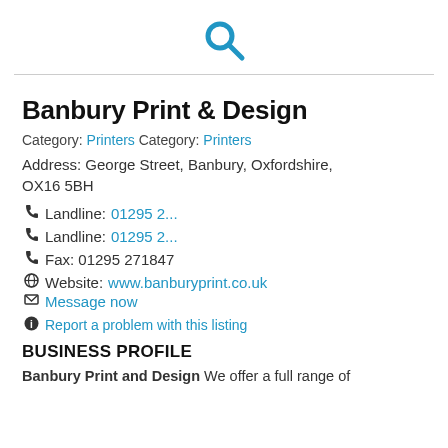[search icon]
Banbury Print & Design
Category: Printers Category: Printers
Address: George Street, Banbury, Oxfordshire, OX16 5BH
Landline: 01295 2...
Landline: 01295 2...
Fax: 01295 271847
Website: www.banburyprint.co.uk
Message now
Report a problem with this listing
BUSINESS PROFILE
Banbury Print and Design We offer a full range of